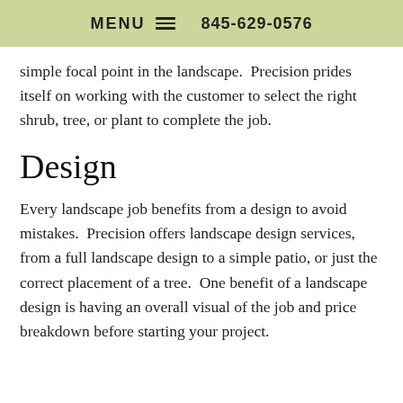MENU  845-629-0576
simple focal point in the landscape.  Precision prides itself on working with the customer to select the right shrub, tree, or plant to complete the job.
Design
Every landscape job benefits from a design to avoid mistakes.  Precision offers landscape design services, from a full landscape design to a simple patio, or just the correct placement of a tree.  One benefit of a landscape design is having an overall visual of the job and price breakdown before starting your project.